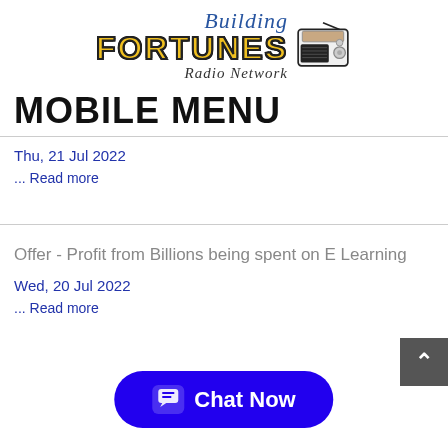[Figure (logo): Building Fortunes Radio Network logo with radio icon]
MOBILE MENU
Thu, 21 Jul 2022
... Read more
Offer - Profit from Billions being spent on E Learning
Wed, 20 Jul 2022
... Read more